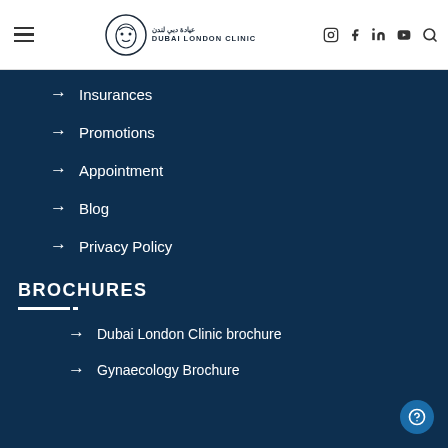Dubai London Clinic — navigation header with logo and social icons
Insurances
Promotions
Appointment
Blog
Privacy Policy
BROCHURES
Dubai London Clinic brochure
Gynaecology Brochure